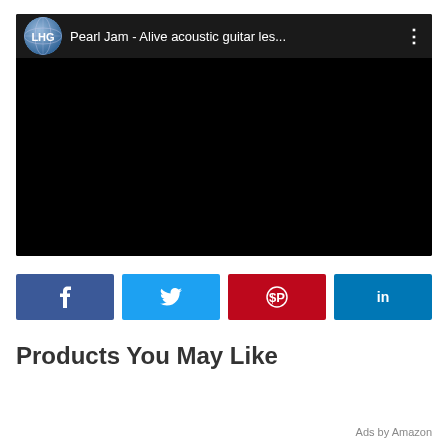[Figure (screenshot): Embedded YouTube video player showing a dark/black video screen with channel logo (LHG globe icon), title 'Pearl Jam - Alive acoustic guitar les...' and a three-dot menu icon in the header bar.]
[Figure (infographic): Row of four social media share buttons: Facebook (dark blue, 'f'), Twitter (light blue, bird icon), Pinterest (red, 'p' circle icon), LinkedIn (medium blue, 'in')]
Products You May Like
Ads by Amazon